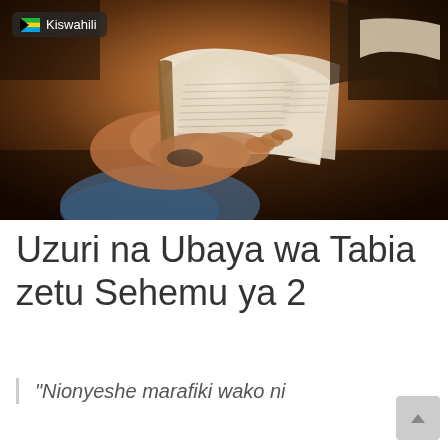[Figure (photo): Person holding an open book/Bible, reading, with another person visible in background. Dark, warm-toned photo.]
Uzuri na Ubaya wa Tabia zetu Sehemu ya 2
"Nionyeshe marafiki wako ni